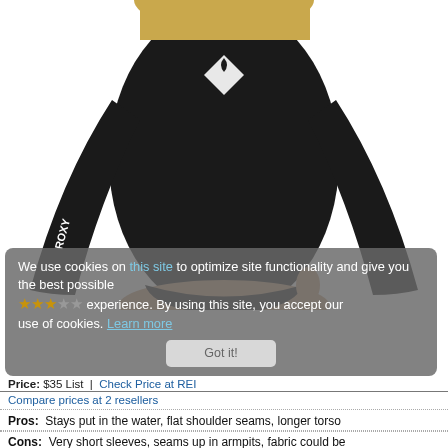[Figure (photo): Woman wearing a black Roxy long-sleeve swimsuit/rash guard with white Roxy logo on chest, photographed from neck to upper thigh against white background]
We use cookies on this site to optimize site functionality and give you the best possible experience. By using this site, you accept our use of cookies. Learn more
Got it!
[Figure (other): Star rating: 3 filled stars and 2 empty stars]
Price: $35 List | Check Price at REI
Compare prices at 2 resellers
Pros: Stays put in the water, flat shoulder seams, longer torso
Cons: Very short sleeves, seams up in armpits, fabric could be